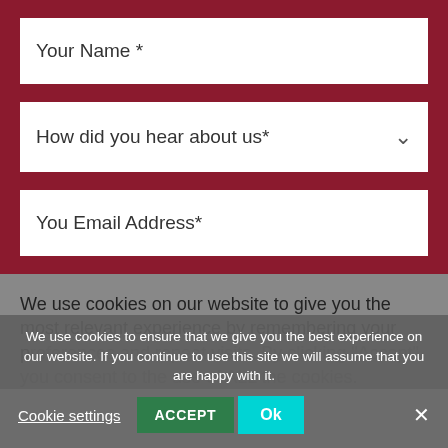Your Name *
How did you hear about us*
You Email Address*
We use cookies on our website to give you the most relevant experience by remembering your preferences and repeat visits. By clicking 'Accept', you consent to the use of ALL the cookies.
We use cookies to ensure that we give you the best experience on our website. If you continue to use this site we will assume that you are happy with it.
Cookie settings
ACCEPT
Ok